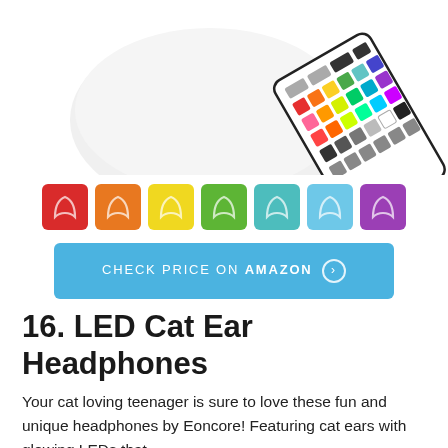[Figure (photo): Product photo of LED cat ear headphones with a white rounded device and a colorful RGB remote control]
[Figure (illustration): Seven color swatch icons of a cat head silhouette in red, orange, yellow, green, teal, light blue, and purple]
CHECK PRICE ON AMAZON
16. LED Cat Ear Headphones
Your cat loving teenager is sure to love these fun and unique headphones by Eoncore! Featuring cat ears with glowing LEDs that